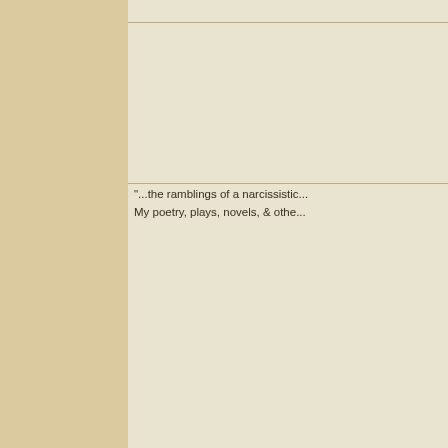Blog Entries: 93
Copyright 2022 by Wolf Larsen
"...the ramblings of a narcissistic... My poetry, plays, novels, & othe...
http://www.amazon.com/s/ref=n...
05-24-2022, 11:11 PM
WolfLarsen
The Wolf of Larsen
[Figure (photo): Profile photo of WolfLarsen - dark portrait of a man]
Where Did You Hide the Planet
A poem by Wolf Larsen

Toilets of freedom!
Big anus of liberty!
What fresh strawberries in the b...
What schizophrenia is up for wa...
Who has their eyeballs sizzling...
You eating Chopin for the next t...
I fornicated a huge solar system...